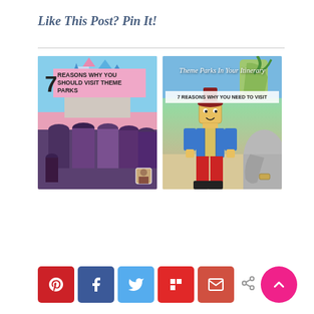Like This Post? Pin It!
[Figure (illustration): Two Pinterest pin images side by side. Left image: shows Disney castle with a group of people in foreground, with pink banner reading '7 REASONS WHY YOU SHOULD VISIT THEME PARKS'. Right image: shows Legoland with a Lego figure and elephant statue, with text overlay 'Theme Parks In Your Itinerary' and white banner '7 REASONS WHY YOU NEED TO VISIT'.]
[Figure (infographic): Row of social media share buttons: Pinterest (red), Facebook (dark blue), Twitter (light blue), Flipboard (red), Email (coral/red), Share icon, and a pink circular scroll-to-top arrow button.]